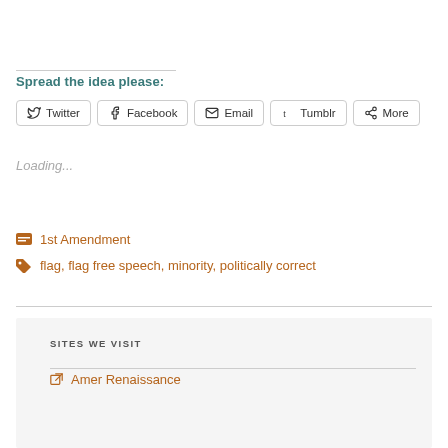Spread the idea please:
[Figure (other): Social share buttons: Twitter, Facebook, Email, Tumblr, More]
Loading...
1st Amendment
flag, flag free speech, minority, politically correct
SITES WE VISIT
Amer Renaissance